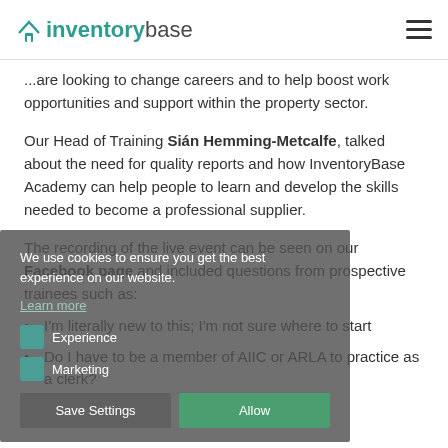inventorybase
...are looking to change careers and to help boost work opportunities and support within the property sector.
Our Head of Training Sián Hemming-Metcalfe, talked about the need for quality reports and how InventoryBase Academy can help people to learn and develop the skills needed to become a professional supplier.
The recording of the live event can be seen on our Facebook page and included questions from prospective trainees such as:
I'm literally new to this; I'm not sure where to start
Do I have to be a member of AIIC or ARLA to practice as a clerk?